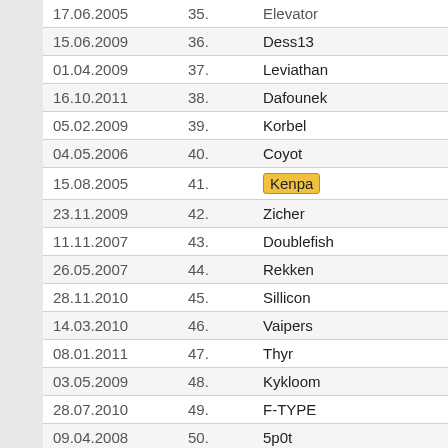| Date | Rank | Name |
| --- | --- | --- |
| 17.06.2005 | 35. | Elevator |
| 15.06.2009 | 36. | Dess13 |
| 01.04.2009 | 37. | Leviathan |
| 16.10.2011 | 38. | Dafounek |
| 05.02.2009 | 39. | Korbel |
| 04.05.2006 | 40. | Coyot |
| 15.08.2005 | 41. | Kenpa |
| 23.11.2009 | 42. | Zicher |
| 11.11.2007 | 43. | Doublefish |
| 26.05.2007 | 44. | Rekken |
| 28.11.2010 | 45. | Sillicon |
| 14.03.2010 | 46. | Vaipers |
| 08.01.2011 | 47. | Thyr |
| 03.05.2009 | 48. | Kykloom |
| 28.07.2010 | 49. | F-TYPE |
| 09.04.2008 | 50. | 5p0t |
| 28.01.2009 | 51. | Juraj |
| 10.01.2007 | 52. | Buga |
| 15.05.2006 | 53. | Tlemitko |
| 11.02.2007 | 54. | Dolphys |
| 20.01.2010 | 55. | Kronos |
| 08.12.2006 | 56. | Wwwigo |
| 22.10.2007 | 57. | Tomsoft |